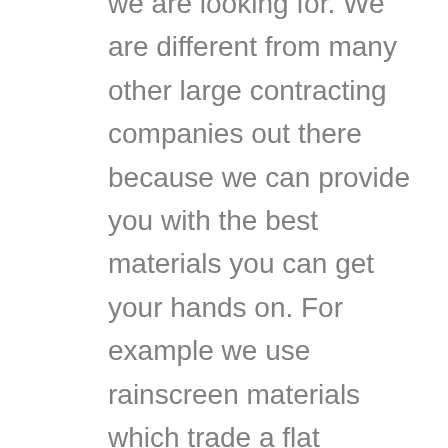we are looking for. We are different from many other large contracting companies out there because we can provide you with the best materials you can get your hands on. For example we use rainscreen materials which trade a flat services for your building section. At the same time, it is a lot thicker aluminum. By using that aluminum material, he can provide your building with a much greater impact and will resist them for larger panels and modules. That way you do not have to worry about the protection of your